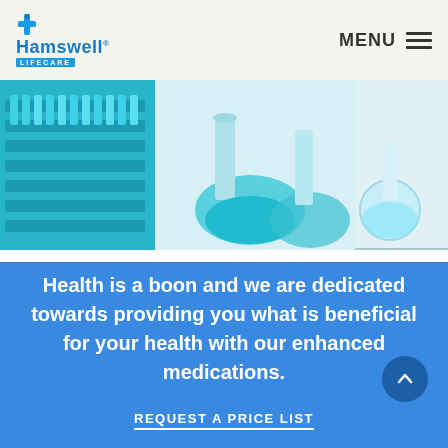[Figure (logo): Hamswell Lifecare logo with blue cross icon and text]
MENU
[Figure (photo): Laboratory glassware with teal/blue liquids — flasks, beakers and test tubes in a scientific lab setting]
Health is a boon and we are dedicated towards providing you what is beneficial for your health with our enhanced medications.
REQUEST A PRICE LIST